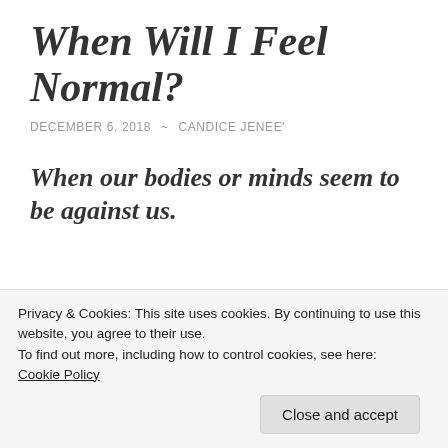When Will I Feel Normal?
DECEMBER 6, 2018  ~  CANDICE JENEE'
When our bodies or minds seem to be against us.
[Figure (other): Partial website image with dark teal left section showing text 'TINYNEPHESH.COM' and light grey right section]
Privacy & Cookies: This site uses cookies. By continuing to use this website, you agree to their use.
To find out more, including how to control cookies, see here:
Cookie Policy
Close and accept